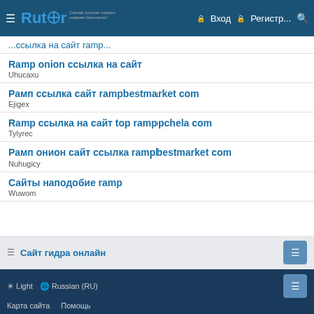Rutor — Вход — Регистр...
Ramp onion ссылка на сайт
Uhucaxu
Рамп ссылка сайт rampbestmarket com
Ejigex
Ramp ссылка на сайт top ramppchela com
Tylyrec
Рамп онион сайт ссылка rampbestmarket com
Nuhugicy
Сайты наподобие ramp
Wuwom
Сайт гидра онлайн
☀ Light  🌐 Russian (RU)
Карта сайта   Помощь